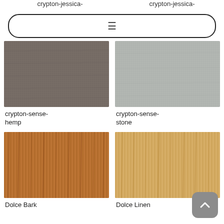crypton-jessica-
crypton-jessica-
[Figure (other): Search/menu bar with hamburger icon]
[Figure (photo): Dark brownish-grey fabric texture — crypton-sense-hemp]
crypton-sense-hemp
[Figure (photo): Light grey fabric texture — crypton-sense-stone]
crypton-sense-stone
[Figure (photo): Medium brown wood grain texture — Dolce Bark]
Dolce Bark
[Figure (photo): Light golden wood grain texture — Dolce Linen]
Dolce Linen